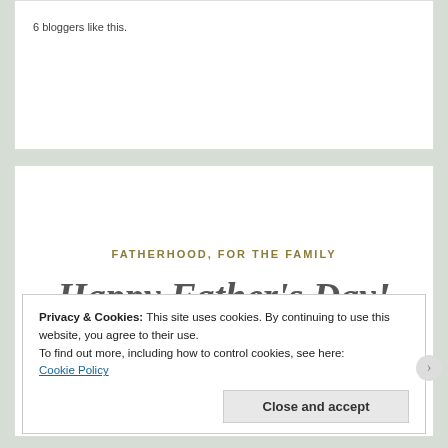6 bloggers like this.
FATHERHOOD, FOR THE FAMILY
Happy Father's Day!
Posted on June 19, 2022
Privacy & Cookies: This site uses cookies. By continuing to use this website, you agree to their use.
To find out more, including how to control cookies, see here:
Cookie Policy
Close and accept